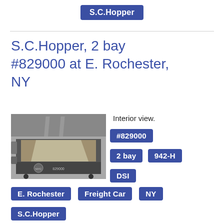S.C.Hopper
S.C.Hopper, 2 bay #829000 at E. Rochester, NY
[Figure (photo): Black and white interior view of a steel hopper railroad freight car #829000, showing the open top trough interior and the side of the car with NYC markings.]
Interior view.
#829000
2 bay   942-H
DSI
E. Rochester   Freight Car   NY
S.C.Hopper